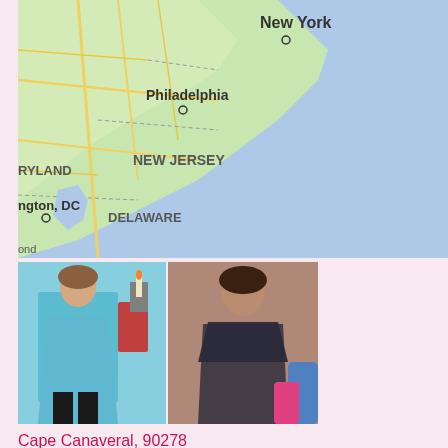[Figure (map): Map showing northeastern United States including New York, Philadelphia, New Jersey, Delaware, Maryland, and Washington DC area with road networks and water bodies]
[Figure (photo): Two photographs of a person]
Cape Canaveral, 90278
Lookin 4 female hiking partner. Fantasies... Looking for a woman who wants to explore her fantasies and mine. Some ideas are: - BDSM - Creampies - Throating - Outdoors Tell